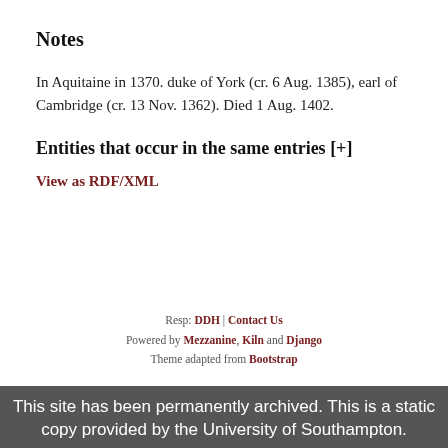Notes
In Aquitaine in 1370. duke of York (cr. 6 Aug. 1385), earl of Cambridge (cr. 13 Nov. 1362). Died 1 Aug. 1402.
Entities that occur in the same entries [+]
View as RDF/XML
Resp: DDH | Contact Us
Powered by Mezzanine, Kiln and Django
Theme adapted from Bootstrap
This site uses cookies. For further details see our Cookies and privacy policy
This site has been permanently archived. This is a static copy provided by the University of Southampton.